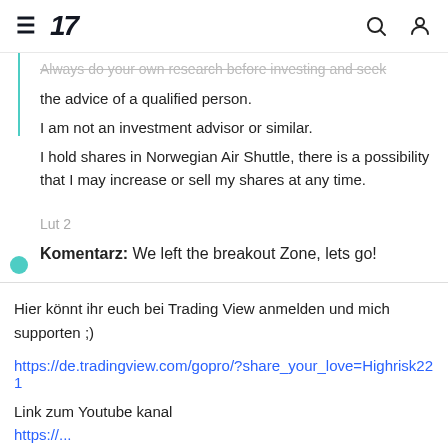TradingView navigation header with hamburger menu, logo '17', search icon, and user icon
Always do your own research before investing and seek the advice of a qualified person.
I am not an investment advisor or similar.
I hold shares in Norwegian Air Shuttle, there is a possibility that I may increase or sell my shares at any time.
Lut 2
Komentarz: We left the breakout Zone, lets go!
Hier könnt ihr euch bei Trading View anmelden und mich supporten ;)
https://de.tradingview.com/gopro/?share_your_love=Highrisk221
Link zum Youtube kanal
https://...